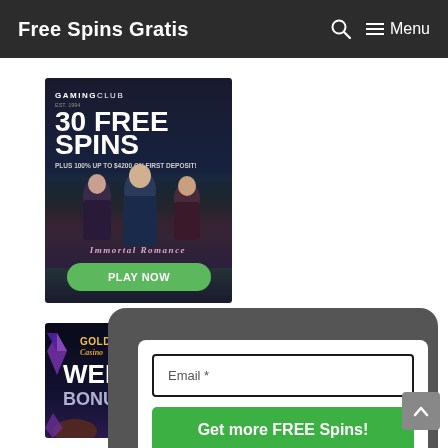Free Spins Gratis — Menu
[Figure (illustration): Gaming Club casino banner: 30 FREE SPINS plus 100% up to $4200 on first deposit, Immortal Romance, PLAY NOW button]
[Figure (illustration): Golden Star Casino banner: WELCOME BONUS with gem and planet graphics]
[Figure (screenshot): Email signup modal overlay with 'Email *' field and 'Get more FREE Spins!' green button, close (x) button at bottom right]